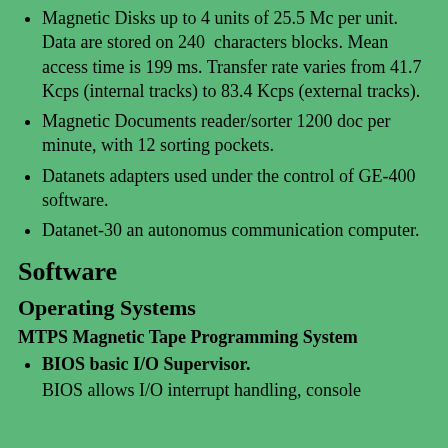Magnetic Disks up to 4 units of 25.5 Mc per unit. Data are stored on 240 characters blocks. Mean access time is 199 ms. Transfer rate varies from 41.7 Kcps (internal tracks) to 83.4 Kcps (external tracks).
Magnetic Documents reader/sorter 1200 doc per minute, with 12 sorting pockets.
Datanets adapters used under the control of GE-400 software.
Datanet-30 an autonomus communication computer.
Software
Operating Systems
MTPS Magnetic Tape Programming System
BIOS basic I/O Supervisor.
BIOS allows I/O interrupt handling, console